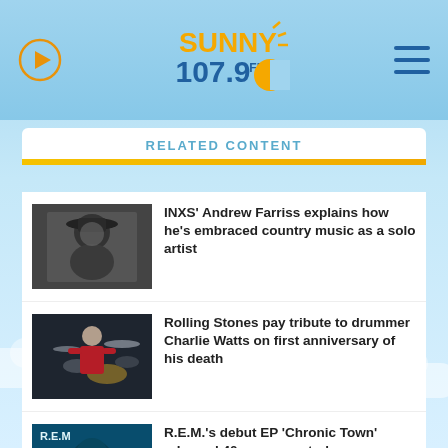Sunny 107.9 FM
RELATED CONTENT
[Figure (photo): Black and white photo of INXS Andrew Farriss]
INXS' Andrew Farriss explains how he's embraced country music as a solo artist
[Figure (photo): Charlie Watts drummer in red shirt performing on stage]
Rolling Stones pay tribute to drummer Charlie Watts on first anniversary of his death
[Figure (photo): R.E.M. debut EP Chronic Town album cover with teal/blue tones]
R.E.M.'s debut EP 'Chronic Town' released 40 years ago today